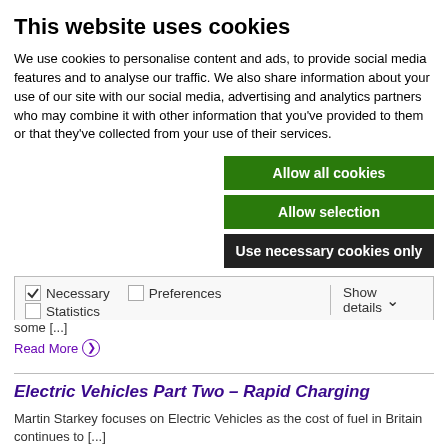This website uses cookies
We use cookies to personalise content and ads, to provide social media features and to analyse our traffic. We also share information about your use of our site with our social media, advertising and analytics partners who may combine it with other information that you've provided to them or that they've collected from your use of their services.
Allow all cookies
Allow selection
Use necessary cookies only
✓ Necessary  □ Preferences  □ Statistics  □ Marketing  Show details ∨
some [...]
Read More
Electric Vehicles Part Two – Rapid Charging
Martin Starkey focuses on Electric Vehicles as the cost of fuel in Britain continues to [...]
Read More
Electric Vehicles Part One – Charging